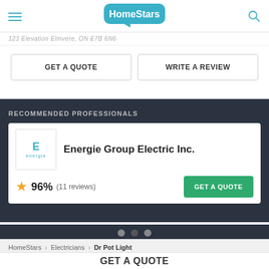HomeStars
123 Elevation Elmvere, ON E7B 6N6
GET A QUOTE | WRITE A REVIEW
RECOMMENDED PROFESSIONALS
Energie Group Electric Inc. 96% (11 reviews)
HomeStars > Electricians > Dr Pot Light
GET A QUOTE